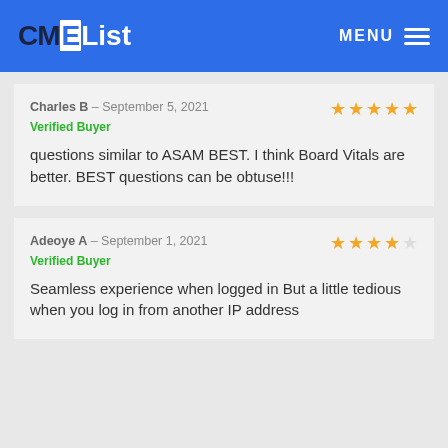CMEList MENU
Charles B – September 5, 2021
Verified Buyer
questions similar to ASAM BEST. I think Board Vitals are better. BEST questions can be obtuse!!!
Adeoye A – September 1, 2021
Verified Buyer
Seamless experience when logged in But a little tedious when you log in from another IP address